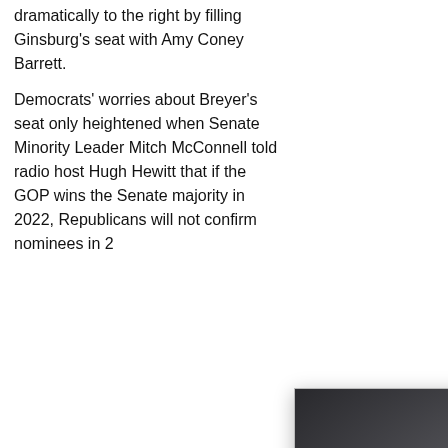dramatically to the right by filling Ginsburg's seat with Amy Coney Barrett.
Democrats' worries about Breyer's seat only heightened when Senate Minority Leader Mitch McConnell told radio host Hugh Hewitt that if the GOP wins the Senate majority in 2022, Republicans will not confirm ... nominees in 20...
[Figure (photo): Thumbnail photo of a group of people, partially visible, with a red circle highlighting one person]
The Biden A... Is Hiding Th... Behind Pote... To US Dollar...
🔥 41,172
[Figure (photo): Modal popup showing a close-up photo of an elderly man with long grey hair and a grey beard, looking to the side. Caption reads: A Tragic End Today For Willie Nelson]